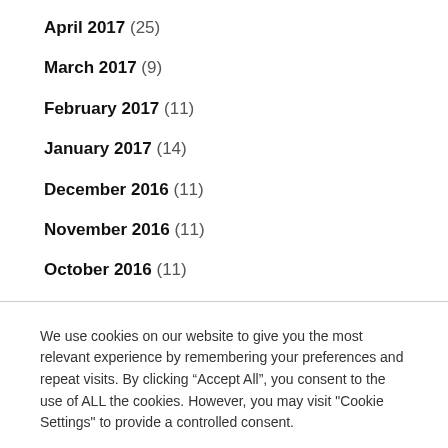April 2017 (25)
March 2017 (9)
February 2017 (11)
January 2017 (14)
December 2016 (11)
November 2016 (11)
October 2016 (11)
We use cookies on our website to give you the most relevant experience by remembering your preferences and repeat visits. By clicking “Accept All”, you consent to the use of ALL the cookies. However, you may visit "Cookie Settings" to provide a controlled consent.